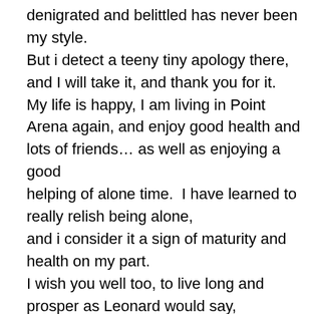denigrated and belittled has never been my style.
But i detect a teeny tiny apology there, and I will take it, and thank you for it.
My life is happy, I am living in Point Arena again, and enjoy good health and lots of friends… as well as enjoying a good
helping of alone time.  I have learned to really relish being alone,
and i consider it a sign of maturity and health on my part.
I wish you well too, to live long and prosper as Leonard would say,
and to finally be at peace with all that you have lived and all
that you are… a real handful, but a wonderfully unique individual
with great attributes.